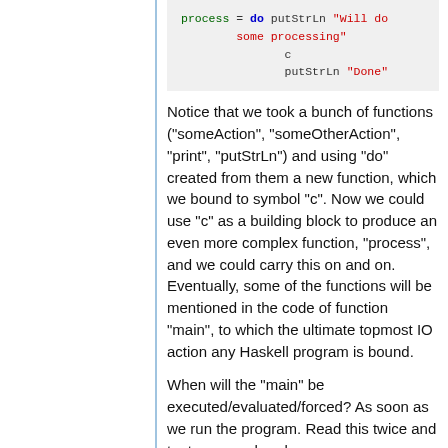[Figure (screenshot): Code block showing Haskell: process = do putStrLn "Will do some processing" then c then putStrLn "Done"]
Notice that we took a bunch of functions ("someAction", "someOtherAction", "print", "putStrLn") and using "do" created from them a new function, which we bound to symbol "c". Now we could use "c" as a building block to produce an even more complex function, "process", and we could carry this on and on. Eventually, some of the functions will be mentioned in the code of function "main", to which the ultimate topmost IO action any Haskell program is bound.
When will the "main" be executed/evaluated/forced? As soon as we run the program. Read this twice and try to comprehend: